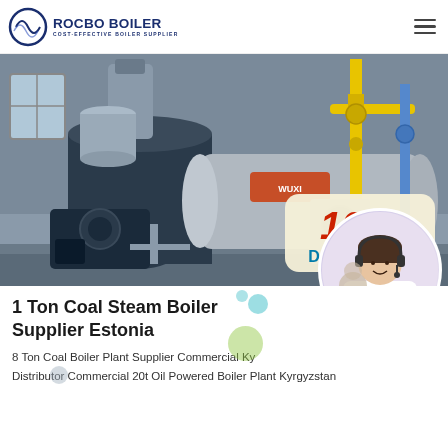[Figure (logo): Rocbo Boiler logo with circular wave icon and text 'ROCBO BOILER / COST-EFFECTIVE BOILER SUPPLIER']
[Figure (photo): Industrial boiler plant interior showing large horizontal pressure vessels, gas pipes (yellow), and mechanical equipment. A 10% DISCOUNT badge overlaid on bottom right.]
[Figure (photo): Customer service representative wearing headset, smiling, circular cropped photo]
1 Ton Coal Steam Boiler Supplier Estonia
8 Ton Coal Boiler Plant Supplier Commercial Ky
Distributor Commercial 20t Oil Powered Boiler Plant Kyrgyzstan